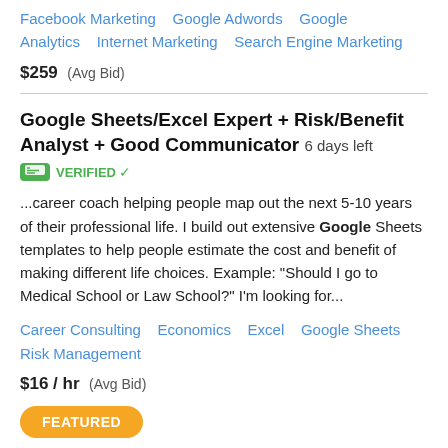Facebook Marketing   Google Adwords   Google Analytics   Internet Marketing   Search Engine Marketing
$259  (Avg Bid)
Google Sheets/Excel Expert + Risk/Benefit Analyst + Good Communicator  6 days left
VERIFIED
...career coach helping people map out the next 5-10 years of their professional life. I build out extensive Google Sheets templates to help people estimate the cost and benefit of making different life choices. Example: "Should I go to Medical School or Law School?" I'm looking for...
Career Consulting   Economics   Excel   Google Sheets   Risk Management
$16 / hr  (Avg Bid)
FEATURED